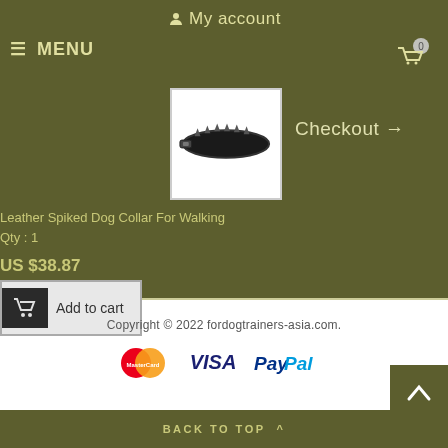My account
MENU
[Figure (screenshot): Product image of a black leather spiked dog collar]
Checkout →
Leather Spiked Dog Collar For Walking
Qty : 1
US $38.87
Add to cart
Copyright © 2022 fordogtrainers-asia.com.
[Figure (logo): MasterCard, VISA, and PayPal payment logos]
BACK TO TOP ^